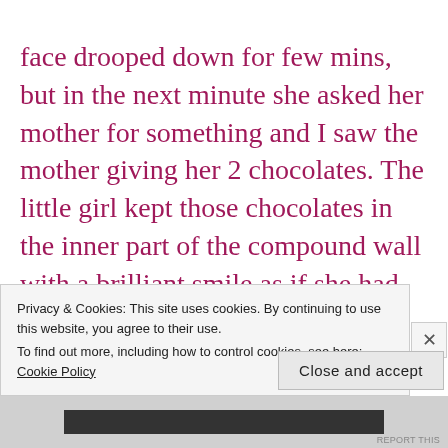face drooped down for few mins, but in the next minute she asked her mother for something and I saw the mother giving her 2 chocolates. The little girl kept those chocolates in the inner part of the compound wall with a brilliant smile as if she had found a solution for a big problem. She then looked around probably waiting to spot someone in the house. The window glass being tinted in quality, did not allow her to see inside. They
Privacy & Cookies: This site uses cookies. By continuing to use this website, you agree to their use.
To find out more, including how to control cookies, see here: Cookie Policy
Close and accept